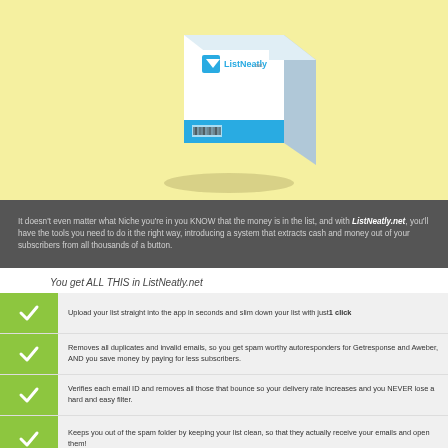[Figure (illustration): Software product box for 'ListNeatly' with white and blue design on yellow background]
It doesn't even matter what Niche you're in you KNOW that the money is in the list, and with ListNeatly.net, you'll have the tools you need to do it the right way, introducing a system that extracts cash and money out of your subscribers from all thousands of a button.
You get ALL THIS in ListNeatly.net
Upload your list straight into the app in seconds and slim down your list with just 1 click
Removes all duplicates and invalid emails, so you get spam worthy autoresponders for Getresponse and Aweber, AND you save money by paying for less subscribers.
Verifies each email ID and removes all those that bounce so your delivery rate increases and you NEVER lose a hard and easy filter.
Keeps you out of the spam folder by keeping your list clean, so that they actually receive your emails and open them!